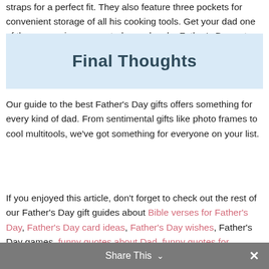straps for a perfect fit. They also feature three pockets for convenient storage of all his cooking tools. Get your dad one of these amazing aprons today and make Father’s Day extra special!
Final Thoughts
Our guide to the best Father’s Day gifts offers something for every kind of dad. From sentimental gifts like photo frames to cool multitools, we’ve got something for everyone on your list.
If you enjoyed this article, don’t forget to check out the rest of our Father’s Day gift guides about Bible verses for Father’s Day, Father’s Day card ideas, Father’s Day wishes, Father’s Day games, funny quotes about Dad, funny quotes for Father’s Day, Father’s Day quotes for stepdads, Father’s Day weekend, Father’s Day
Share This